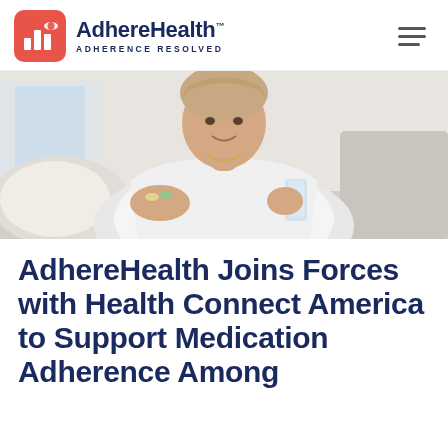[Figure (logo): AdhereHealth logo with red/salmon rounded square icon containing bar chart and pill shape, with company name 'AdhereHealth' and tagline 'ADHERENCE RESOLVED']
[Figure (photo): Middle-aged woman in white shirt holding pills in one hand and a glass of water in the other, seated indoors with soft background]
AdhereHealth Joins Forces with Health Connect America to Support Medication Adherence Among